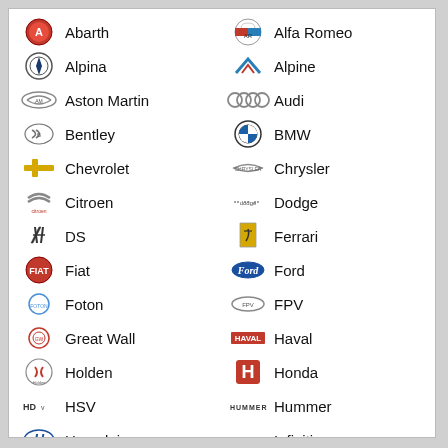Abarth
Alfa Romeo
Alpina
Alpine
Aston Martin
Audi
Bentley
BMW
Chevrolet
Chrysler
Citroen
Dodge
DS
Ferrari
Fiat
Ford
Foton
FPV
Great Wall
Haval
Holden
Honda
HSV
Hummer
Hyundai
Infiniti
Isuzu
Jaguar
Jeep
Kia
Lamborghini
Land Rover
LDV
Lexus